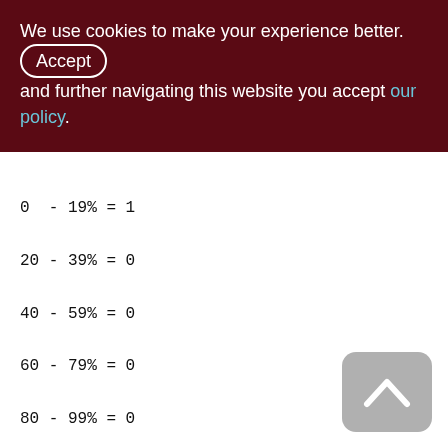We use cookies to make your experience better. By accepting and further navigating this website you accept our policy.
0 - 19% = 1
20 - 39% = 0
40 - 59% = 0
60 - 79% = 0
80 - 99% = 0
PSTORNED (151)
Primary pointer page: 301, Index root page: 302
Total formats: 1, used formats: 1
Average record length: 55.16, total records: 484056